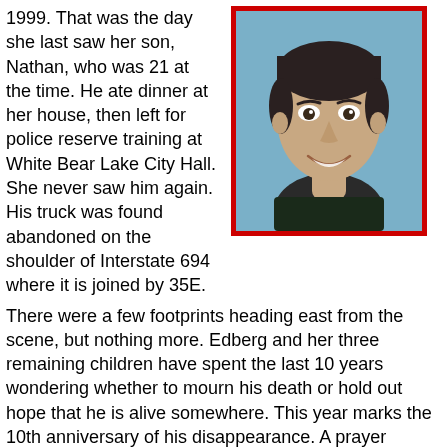1999. That was the day she last saw her son, Nathan, who was 21 at the time. He ate dinner at her house, then left for police reserve training at White Bear Lake City Hall. She never saw him again. His truck was found abandoned on the shoulder of Interstate 694 where it is joined by 35E.
[Figure (photo): Head-and-shoulders photo of a young man, approximately 21 years old, with short dark hair, wearing a dark crew-neck shirt, smiling, against a blue background. The photo has a thick red border.]
There were a few footprints heading east from the scene, but nothing more. Edberg and her three remaining children have spent the last 10 years wondering whether to mourn his death or hold out hope that he is alive somewhere. This year marks the 10th anniversary of his disappearance. A prayer service will be held at 7 p.m. April 14 at St. Odilia. St. Odilia liturgical coordinator Mari Meyer has been working closely with Edberg on the service, and said the event, while focusing on Nathan, is for anyone who has loved ones missing or wants to pray for families dealing with the issue.